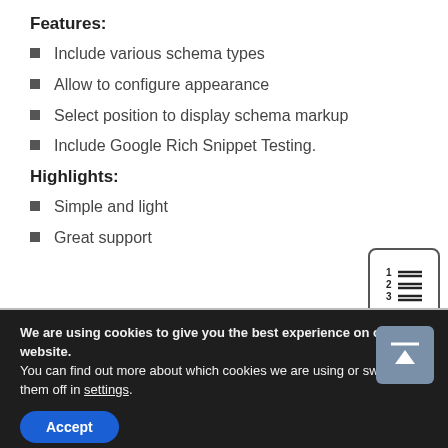Features:
Include various schema types
Allow to configure appearance
Select position to display schema markup
Include Google Rich Snippet Testing.
Highlights:
Simple and light
Great support
[Figure (illustration): A numbered list icon showing 1, 2, 3 with horizontal lines next to each number, inside a rounded rectangle border]
We are using cookies to give you the best experience on our website.
You can find out more about which cookies we are using or switch them off in settings.
Accept
[Figure (illustration): A scroll-to-top button: dark background with a horizontal line at top and an upward arrow below it]